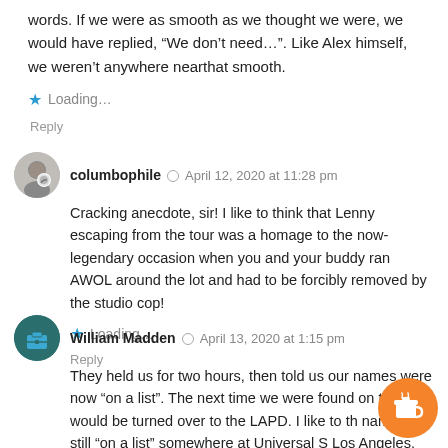words. If we were as smooth as we thought we were, we would have replied, “We don’t need…”. Like Alex himself, we weren’t anywhere near​that smooth.
★ Loading...
Reply
columbophile ◦ April 12, 2020 at 11:28 pm
Cracking anecdote, sir! I like to think that Lenny escaping from the tour was a homage to the now-legendary occasion when you and your buddy ran AWOL around the lot and had to be forcibly removed by the studio cop!
★ Loading...
Reply
William Madden ◦ April 13, 2020 at 1:15 pm
They held us for two hours, then told us our names were now “on a list”. The next time we were found on th we would be turned over to the LAPD. I like to th name is still “on a list” somewhere at Universal S Los Angeles.